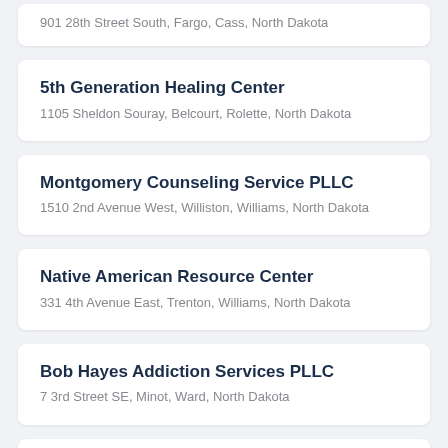901 28th Street South, Fargo, Cass, North Dakota
5th Generation Healing Center
1105 Sheldon Souray, Belcourt, Rolette, North Dakota
Montgomery Counseling Service PLLC
1510 2nd Avenue West, Williston, Williams, North Dakota
Native American Resource Center
331 4th Avenue East, Trenton, Williams, North Dakota
Bob Hayes Addiction Services PLLC
7 3rd Street SE, Minot, Ward, North Dakota